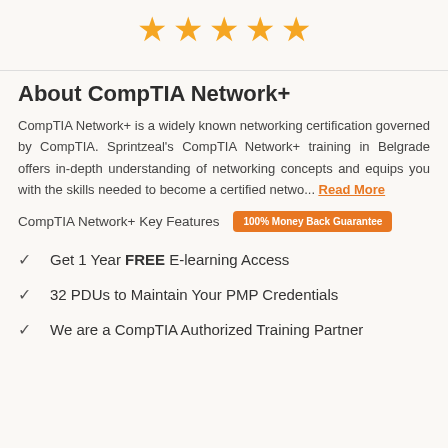[Figure (illustration): Five gold star rating icons displayed in a row]
About CompTIA Network+
CompTIA Network+ is a widely known networking certification governed by CompTIA. Sprintzeal's CompTIA Network+ training in Belgrade offers in-depth understanding of networking concepts and equips you with the skills needed to become a certified netwo... Read More
CompTIA Network+ Key Features   100% Money Back Guarantee
Get 1 Year FREE E-learning Access
32 PDUs to Maintain Your PMP Credentials
We are a CompTIA Authorized Training Partner